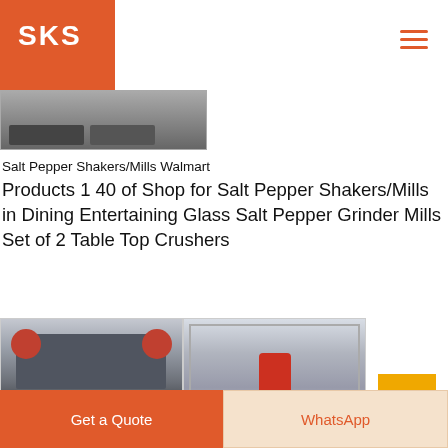SKS
[Figure (photo): Partial view of industrial machinery at top of page]
Salt Pepper Shakers/Mills Walmart
Products 1 40 of Shop for Salt Pepper Shakers/Mills in Dining Entertaining Glass Salt Pepper Grinder Mills Set of 2 Table Top Crushers
[Figure (photo): Industrial grinding/crushing machine in factory setting (left image)]
[Figure (photo): Industrial vertical mill machine in factory setting (right image)]
[Figure (photo): Partial image of machinery in bottom row]